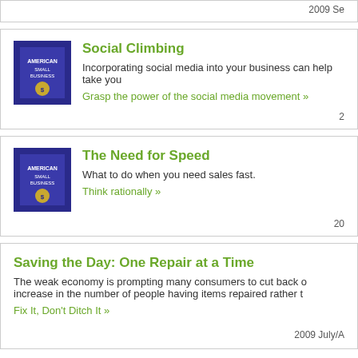2009 Se
Social Climbing
Incorporating social media into your business can help take you...
Grasp the power of the social media movement »
The Need for Speed
What to do when you need sales fast.
Think rationally »
Saving the Day: One Repair at a Time
The weak economy is prompting many consumers to cut back o... increase in the number of people having items repaired rather t...
Fix It, Don't Ditch It »
2009 July/A